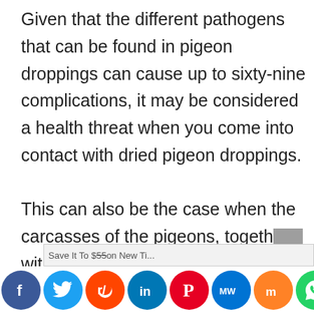Given that the different pathogens that can be found in pigeon droppings can cause up to sixty-nine complications, it may be considered a health threat when you come into contact with dried pigeon droppings.

This can also be the case when the carcasses of the pigeons, together with their nesting material, also enter
[Figure (other): Social media sharing bar with icons: Facebook (blue), Twitter (light blue), Reddit (orange-red), LinkedIn (blue), Pinterest (red), MeWe (blue), Mix (orange), WhatsApp (green), Share (dark gray)]